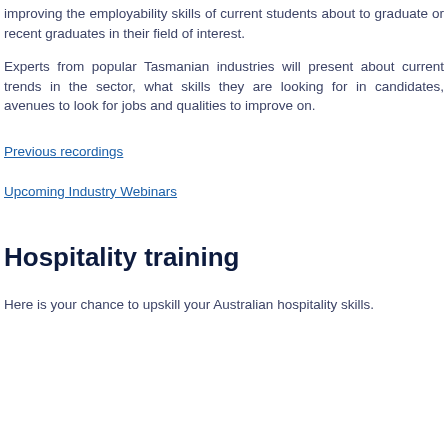improving the employability skills of current students about to graduate or recent graduates in their field of interest.
Experts from popular Tasmanian industries will present about current trends in the sector, what skills they are looking for in candidates, avenues to look for jobs and qualities to improve on.
Previous recordings
Upcoming Industry Webinars
Hospitality training
Here is your chance to upskill your Australian hospitality skills.